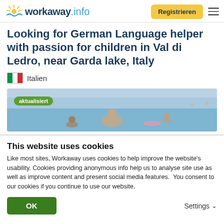workaway.info — Registrieren
Looking for German Language helper with passion for children in Val di Ledro, near Garda lake, Italy
Italien
[Figure (photo): Photo of people swimming in a lake or sea, with an 'aktualisiert' (updated) green badge overlay in the top left.]
This website uses cookies
Like most sites, Workaway uses cookies to help improve the website's usability. Cookies providing anonymous info help us to analyse site use as well as improve content and present social media features.  You consent to our cookies if you continue to use our website.
OK   Settings